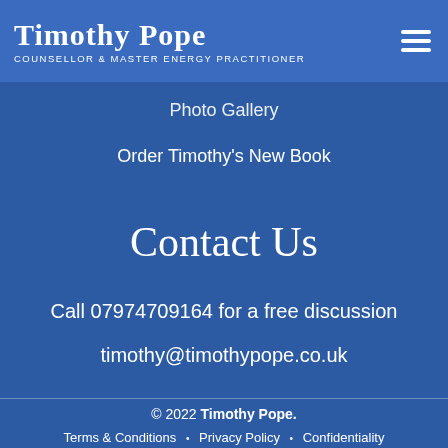Timothy Pope — Counsellor & Master Energy Practitioner
Photo Gallery
Order Timothy's New Book
Contact Us
Call 07974709164 for a free discussion
timothy@timothypope.co.uk
© 2022 Timothy Pope.
Terms & Conditions • Privacy Policy • Confidentiality